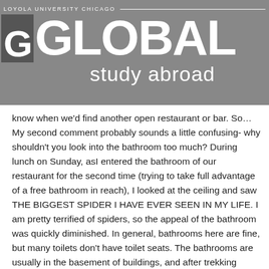LOYOLA UNIVERSITY CHICAGO
GO GLOBAL study abroad
know when we'd find another open restaurant or bar. So… My second comment probably sounds a little confusing- why shouldn't you look into the bathroom too much? During lunch on Sunday, asI entered the bathroom of our restaurant for the second time (trying to take full advantage of a free bathroom in reach), I looked at the ceiling and saw THE BIGGEST SPIDER I HAVE EVER SEEN IN MY LIFE. I am pretty terrified of spiders, so the appeal of the bathroom was quickly diminished. In general, bathrooms here are fine, but many toilets don't have toilet seats. The bathrooms are usually in the basement of buildings, and after trekking down steep staircases to get to them, they can be pretty dirty. So, use bathrooms when possible, but always carry hand sanitizer with you and don't look up!!